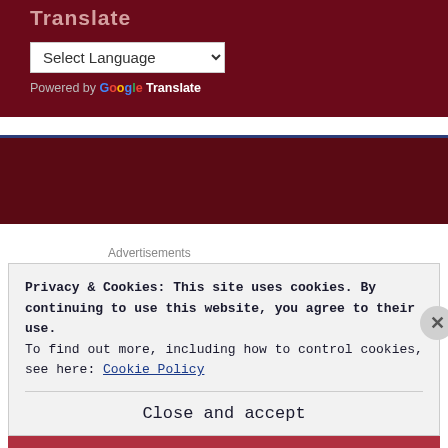Translate
[Figure (screenshot): Language selector dropdown widget showing 'Select Language' with a chevron, and 'Powered by Google Translate' text below]
[Figure (screenshot): Dark maroon banner section with navy blue top border]
Advertisements
Privacy & Cookies: This site uses cookies. By continuing to use this website, you agree to their use.
To find out more, including how to control cookies, see here: Cookie Policy
Close and accept